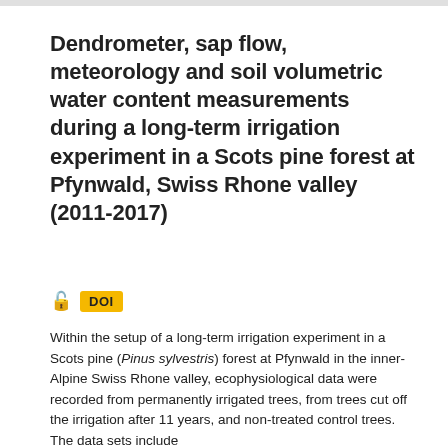Dendrometer, sap flow, meteorology and soil volumetric water content measurements during a long-term irrigation experiment in a Scots pine forest at Pfynwald, Swiss Rhone valley (2011-2017)
DOI
Within the setup of a long-term irrigation experiment in a Scots pine (Pinus sylvestris) forest at Pfynwald in the inner-Alpine Swiss Rhone valley, ecophysiological data were recorded from permanently irrigated trees, from trees cut off the irrigation after 11 years, and non-treated control trees. The data sets include